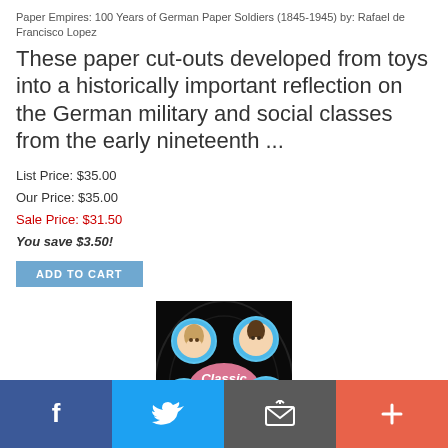Paper Empires: 100 Years of German Paper Soldiers (1845-1945) by: Rafael de Francisco Lopez
These paper cut-outs developed from toys into a historically important reflection on the German military and social classes from the early nineteenth ...
List Price: $35.00
Our Price: $35.00
Sale Price: $31.50
You save $3.50!
ADD TO CART
[Figure (photo): Book cover image of 'Classic Plastic Dolls 1945-1965' showing a black background with five circular portraits of doll heads arranged around a pink cursive logo.]
[Figure (infographic): Social media footer bar with four sections: Facebook (blue), Twitter (light blue), Email (gray), and Plus/share (orange-red) icons.]